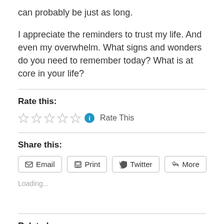can probably be just as long.
I appreciate the reminders to trust my life. And even my overwhelm. What signs and wonders do you need to remember today? What is at core in your life?
Rate this:
[Figure (other): Five empty star rating icons followed by a blue info circle icon and 'Rate This' text]
Share this:
[Figure (other): Share buttons: Email, Print, Twitter, More]
Loading...
Related